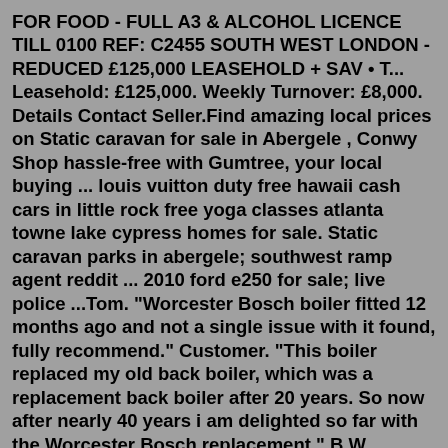FOR FOOD - FULL A3 & ALCOHOL LICENCE TILL 0100 REF: C2455 SOUTH WEST LONDON - REDUCED £125,000 LEASEHOLD + SAV • T... Leasehold: £125,000. Weekly Turnover: £8,000. Details Contact Seller.Find amazing local prices on Static caravan for sale in Abergele , Conwy Shop hassle-free with Gumtree, your local buying ... louis vuitton duty free hawaii cash cars in little rock free yoga classes atlanta towne lake cypress homes for sale. Static caravan parks in abergele; southwest ramp agent reddit ... 2010 ford e250 for sale; live police ...Tom. "Worcester Bosch boiler fitted 12 months ago and not a single issue with it found, fully recommend." Customer. "This boiler replaced my old back boiler, which was a replacement back boiler after 20 years. So now after nearly 40 years i am delighted so far with the Worcester Bosch replacement." B W Gardner. "Fantastic boiler can't fault it".Peel Gardens Peel Street, Abergele, Clwyd, LL22 7LA. Sold £1 Land For Sale. Section/Strip of